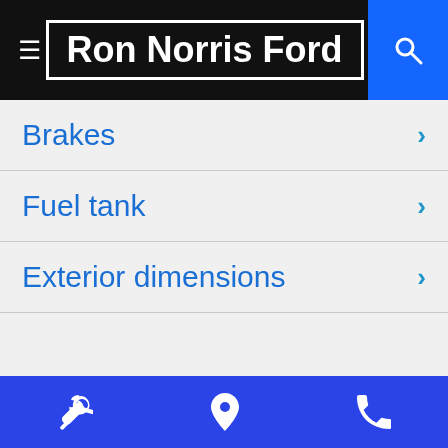Ron Norris Ford
Brakes
Fuel tank
Exterior dimensions
Navigation bar with wrench, location pin, and phone icons